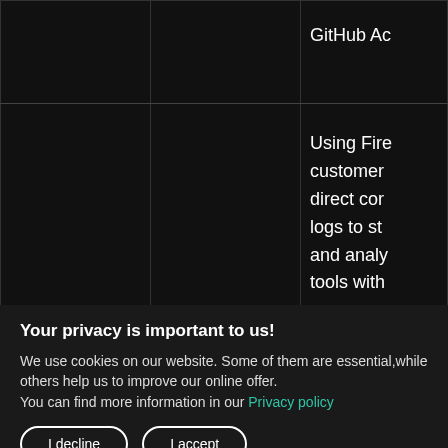[Figure (screenshot): Dark-themed table/grid UI with white text showing truncated content: 'GitHub Ac' in top-right cell, and lines 'Using Fire', 'customer', 'direct cor', 'logs to st', 'and analy', 'tools with' in lower-right cell area. Grid lines divide the area into columns.]
Your privacy is important to us!
We use cookies on our website. Some of them are essential,while others help us to improve our online offer.
You can find more information in our Privacy policy
I decline
I accept